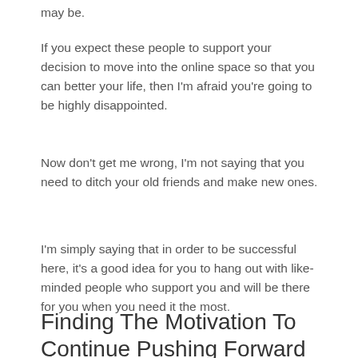may be.
If you expect these people to support your decision to move into the online space so that you can better your life, then I'm afraid you're going to be highly disappointed.
Now don't get me wrong, I'm not saying that you need to ditch your old friends and make new ones.
I'm simply saying that in order to be successful here, it's a good idea for you to hang out with like-minded people who support you and will be there for you when you need it the most.
Finding The Motivation To Continue Pushing Forward